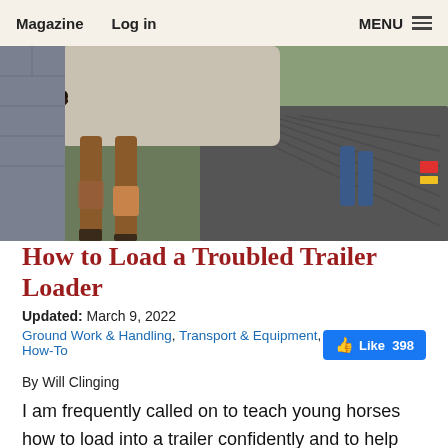Magazine   Log in   MENU
[Figure (photo): Close-up photo of a horse's legs and tail walking up a trailer ramp, with a gravel surface visible]
How to Load a Troubled Trailer Loader
Updated: March 9, 2022
Ground Work & Handling, Transport & Equipment, How-To
By Will Clinging
I am frequently called on to teach young horses how to load into a trailer confidently and to help horses that are having trouble loading sort out what's going wrong. I have written articles in the past about trailer loading, exp why it is important to teach and detailing technique not going to talk about technique here. I want to talk about